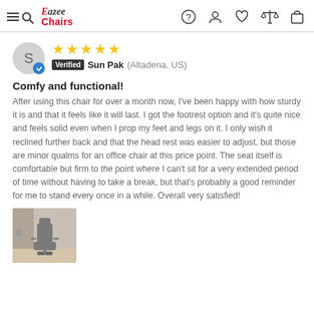Eazee Chairs — navigation header
★★★★★ Verified Sun Pak (Altadena, US)
Comfy and functional!
After using this chair for over a month now, I've been happy with how sturdy it is and that it feels like it will last. I got the footrest option and it's quite nice and feels solid even when I prop my feet and legs on it. I only wish it reclined further back and that the head rest was easier to adjust, but those are minor qualms for an office chair at this price point. The seat itself is comfortable but firm to the point where I can't sit for a very extended period of time without having to take a break, but that's probably a good reminder for me to stand every once in a while. Overall very satisfied!
[Figure (photo): Photo of a grey office chair with headrest and armrests in a room setting]